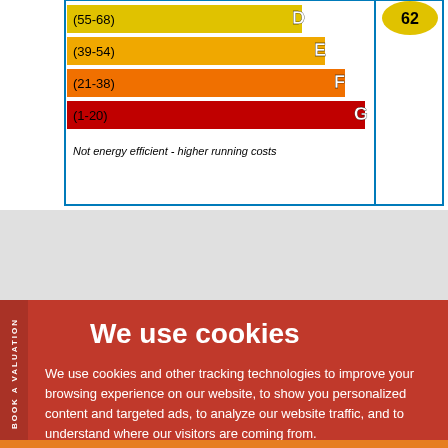[Figure (infographic): Energy Performance Certificate chart showing ratings D (55-68), E (39-54), F (21-38), G (1-20) with colored bars and a score of 62 shown in yellow circle. Right side shows empty rating boxes bordered in blue.]
Not energy efficient - higher running costs
We use cookies
We use cookies and other tracking technologies to improve your browsing experience on our website, to show you personalized content and targeted ads, to analyze our website traffic, and to understand where our visitors are coming from.